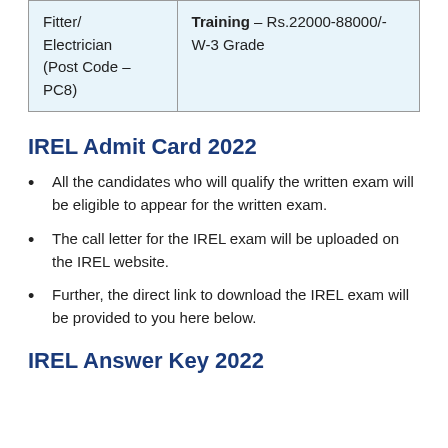| Fitter/ Electrician (Post Code – PC8) | Training – Rs.22000-88000/- W-3 Grade |
IREL Admit Card 2022
All the candidates who will qualify the written exam will be eligible to appear for the written exam.
The call letter for the IREL exam will be uploaded on the IREL website.
Further, the direct link to download the IREL exam will be provided to you here below.
IREL Answer Key 2022